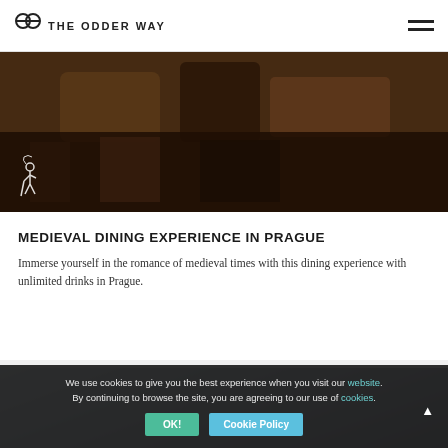OW THE ODDER WAY
[Figure (photo): Dark-toned photo of medieval restaurant dining setting with baskets and bottles visible]
MEDIEVAL DINING EXPERIENCE IN PRAGUE
Immerse yourself in the romance of medieval times with this dining experience with unlimited drinks in Prague.
[Figure (photo): Photo of a private jet aircraft nose with cloudy sky background]
We use cookies to give you the best experience when you visit our website. By continuing to browse the site, you are agreeing to our use of cookies.
OK!
Cookie Policy